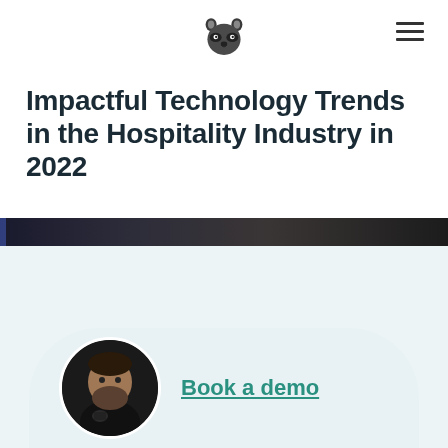[Raccoon logo] [Hamburger menu icon]
Impactful Technology Trends in the Hospitality Industry in 2022
[Figure (photo): Dark horizontal banner/hero image strip showing a dimly lit scene]
[Figure (photo): Circular avatar photo of a bearded man in black, used next to 'Book a demo' call-to-action]
Book a demo